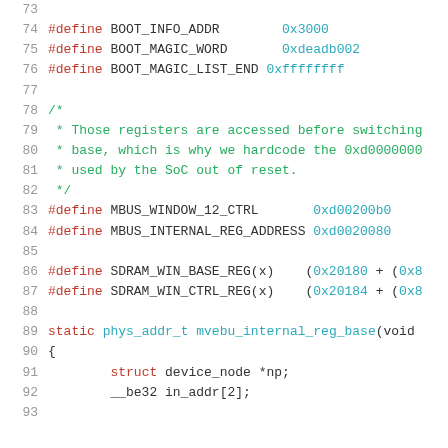Source code listing lines 73-93, C kernel code with #define macros and static function